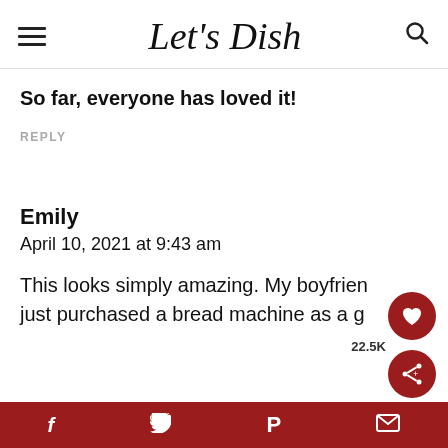Let's Dish
So far, everyone has loved it!
REPLY
Emily
April 10, 2021 at 9:43 am
This looks simply amazing. My boyfriend just purchased a bread machine as a g
f  t  p  (email icon)